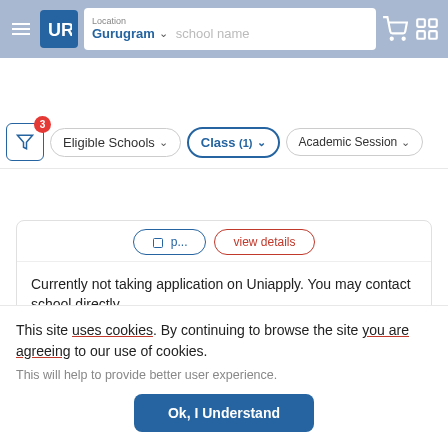[Figure (screenshot): Navigation bar with hamburger menu, UR logo, location set to Gurugram, search placeholder text 'school name', shopping cart icon and grid icon]
[Figure (screenshot): Filter bar with filter button (badge count 3), Eligible Schools dropdown, Class (1) dropdown (active/highlighted), Academic Session dropdown]
Currently not taking application on Uniapply. You may contact school directly.
[Figure (screenshot): Gray image placeholder card with heart/like badge showing 186]
This site uses cookies. By continuing to browse the site you are agreeing to our use of cookies.
This will help to provide better user experience.
Ok, I Understand